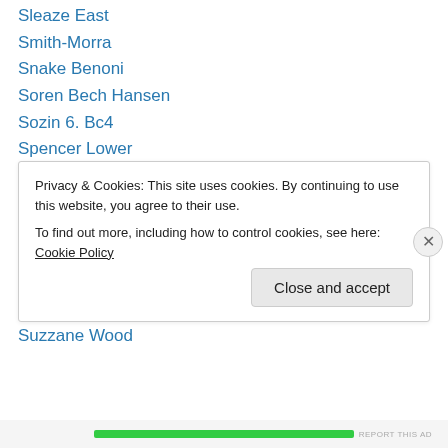Sleaze East
Smith-Morra
Snake Benoni
Soren Bech Hansen
Sozin 6. Bc4
Spencer Lower
States
Stephen Feinberg
Steve Immitt
Steve Strogatz
Stewart Reuben
Susan Polgar
Suzzane Wood
Privacy & Cookies: This site uses cookies. By continuing to use this website, you agree to their use. To find out more, including how to control cookies, see here: Cookie Policy
Close and accept